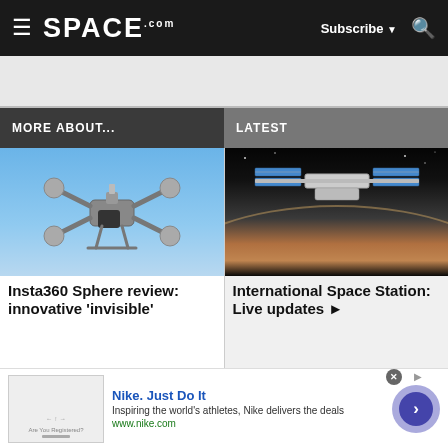SPACE.com — Subscribe — Search
[Figure (screenshot): Advertisement banner placeholder, light gray background]
MORE ABOUT...
LATEST
[Figure (photo): Insta360 Sphere drone camera flying against blue sky]
Insta360 Sphere review: innovative 'invisible'
[Figure (photo): International Space Station visible above Earth's surface from orbit]
International Space Station: Live updates ▶
[Figure (screenshot): Nike advertisement: Nike. Just Do It. Inspiring the world's athletes, Nike delivers the deals. www.nike.com]